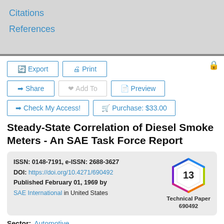Citations
References
[Figure (screenshot): Web page UI with Export, Print, Share, Add To, Preview, Check My Access!, Purchase: $33.00 buttons]
Steady-State Correlation of Diesel Smoke Meters - An SAE Task Force Report
ISSN: 0148-7191, e-ISSN: 2688-3627
DOI: https://doi.org/10.4271/690492
Published February 01, 1969 by SAE International in United States
[Figure (infographic): Polygon badge with number 13, labeled Technical Paper 690492]
Sector: Automotive